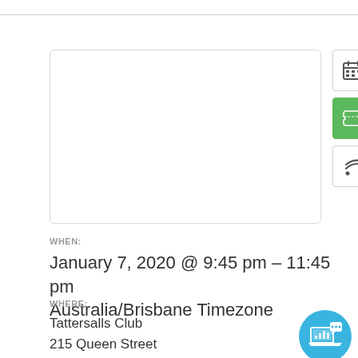[Figure (screenshot): Main content image placeholder box with rounded border]
[Figure (other): Sidebar icons: calendar icon button, green ticket icon button, RSS/wifi icon button]
WHEN:
January 7, 2020 @ 9:45 pm – 11:45 pm Australia/Brisbane Timezone
WHERE:
Tattersalls Club
215 Queen Street
Brisbane
[Figure (illustration): Blue circle icon with a presentation/laptop and speech bubble illustration]